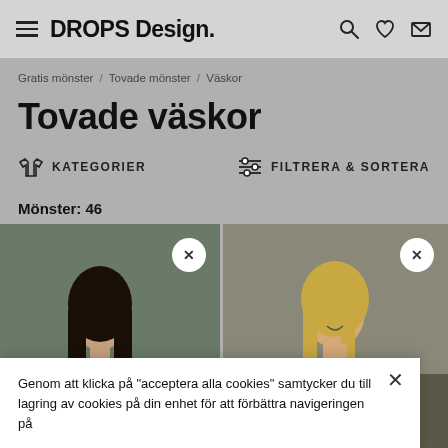DROPS Design.
Gratis mönster / Tovade mönster / Väskor
Tovade väskor
KATEGORIER   FILTRERA & SORTERA
Mönster: 46
[Figure (photo): Woman with dark hair seen from behind carrying a bag, outdoor setting]
[Figure (photo): Woman with blonde hair smiling with a red/pink bag, outdoor setting]
Genom att klicka på "acceptera alla cookies" samtycker du till lagring av cookies på din enhet för att förbättra navigeringen på